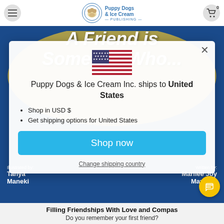Puppy Dogs & Ice Cream Publishing — navigation header with logo and cart (0 items)
[Figure (screenshot): Modal popup on a children's book website page. Shows a US flag, text 'Puppy Dogs & Ice Cream Inc. ships to United States', bullet points 'Shop in USD $' and 'Get shipping options for United States', a 'Shop now' button, and a 'Change shipping country' link. Background shows a children's book cover 'A Friend is Someone Who...' with illustrated children under a yellow umbrella.]
Puppy Dogs & Ice Cream Inc. ships to United States
Shop in USD $
Get shipping options for United States
Shop now
Change shipping country
Filling Friendships With Love and Compass
Do you remember your first friend?